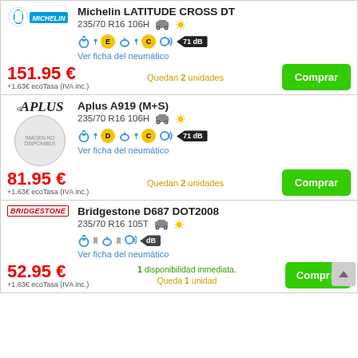[Figure (infographic): Product listing card for Michelin LATITUDE CROSS DT tire. Brand logo (Michelin blue), product name, specs 235/70 R16 106H with SUV and sun icons, energy rating icons E and C, 71 dB noise rating, link, price 151.95€, +1.63€ ecoTasa (IVA inc.), Quedan 2 unidades, Comprar button.]
[Figure (infographic): Product listing card for Aplus A919 (M+S) tire. Aplus brand logo, tire image placeholder 'IMAGEN NO DISPONIBLE', specs 235/70 R16 106H with SUV and sun icons, energy rating D and C, 71 dB noise, link, price 81.95€, +1.63€ ecoTasa (IVA inc.), Quedan 2 unidades, Comprar button.]
[Figure (infographic): Product listing card for Bridgestone D687 DOT2008 tire. Bridgestone logo, specs 235/70 R16 105T with SUV and sun icons, energy rating icons (grey), dB noise, link, price 52.95€, +1.63€ ecoTasa (IVA inc.), 1 disponibilidad inmediata. Queda 1 unidad, Comprar button (partially visible), scroll-up arrow button.]